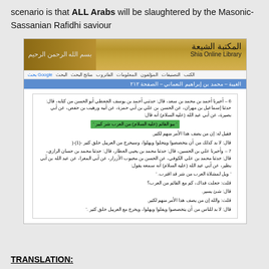scenario is that ALL Arabs will be slaughtered by the Masonic-Sassanian Rafidhi saviour
[Figure (screenshot): Screenshot of the Shia Online Library website showing an Arabic text page from a book, with a navigation bar, blue header bar with Arabic title, and a content box containing Arabic religious text with one line highlighted in green.]
TRANSLATION: